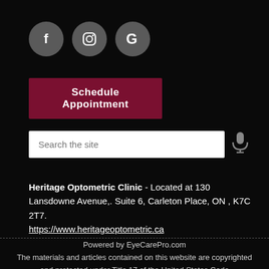[Figure (infographic): Three social media icon circles: Facebook (f), Instagram (camera/circle), Google (G), on dark background]
Schedule Appointment
[Figure (screenshot): Search bar with placeholder text 'Search the site' and a microphone icon to the right]
Heritage Optometric Clinic - Located at 130 Lansdowne Avenue,. Suite 6, Carleton Place, ON , K7C 2T7. https://www.heritageoptometric.ca
Powered by EyeCarePro.com
The materials and articles contained on this website are copyrighted and protected under Title 17 of the United States Code